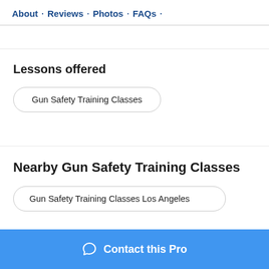About · Reviews · Photos · FAQs ·
Lessons offered
Gun Safety Training Classes
Nearby Gun Safety Training Classes
Gun Safety Training Classes Los Angeles
Contact this Pro